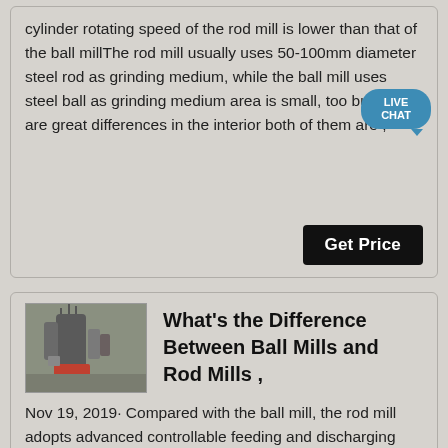cylinder rotating speed of the rod mill is lower than that of the ball millThe rod mill usually uses 50-100mm diameter steel rod as grinding medium, while the ball mill uses steel ball as grinding medium area is small, too but there are great differences in the interior both of them are ,
[Figure (other): Live Chat speech bubble badge in teal blue with white text 'LIVE CHAT']
Get Price
[Figure (photo): Industrial mill machinery photograph showing large cylindrical grinding equipment]
What's the Difference Between Ball Mills and Rod Mills ,
Nov 19, 2019· Compared with the ball mill, the rod mill adopts advanced controllable feeding and discharging technology, and can use the appropriate grinding body according to the grinding material The point contact of the traditional ball mill can be ,
Get Price